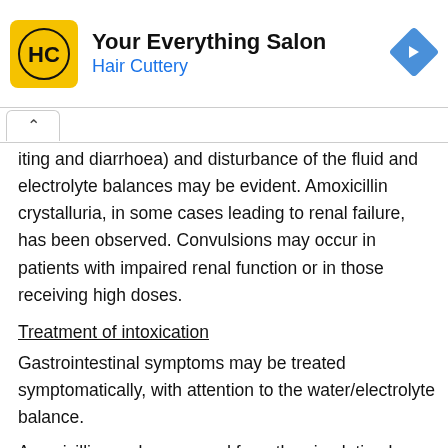[Figure (logo): Hair Cuttery advertisement banner with HC logo in yellow square, text 'Your Everything Salon' and 'Hair Cuttery', and a blue diamond navigation arrow icon]
iting and diarrhoea) and disturbance of the fluid and electrolyte balances may be evident. Amoxicillin crystalluria, in some cases leading to renal failure, has been observed. Convulsions may occur in patients with impaired renal function or in those receiving high doses.
Treatment of intoxication
Gastrointestinal symptoms may be treated symptomatically, with attention to the water/electrolyte balance.
Amoxicillin can be removed from the circulation by haemodialysis.